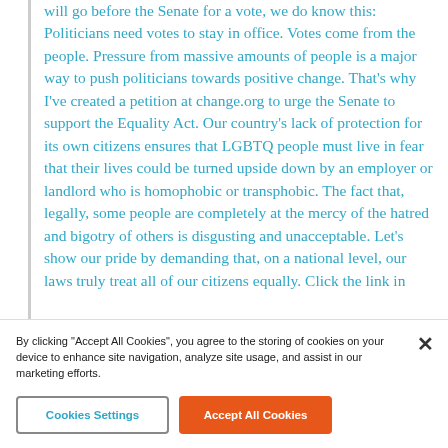will go before the Senate for a vote, we do know this: Politicians need votes to stay in office. Votes come from the people. Pressure from massive amounts of people is a major way to push politicians towards positive change. That's why I've created a petition at change.org to urge the Senate to support the Equality Act. Our country's lack of protection for its own citizens ensures that LGBTQ people must live in fear that their lives could be turned upside down by an employer or landlord who is homophobic or transphobic. The fact that, legally, some people are completely at the mercy of the hatred and bigotry of others is disgusting and unacceptable. Let's show our pride by demanding that, on a national level, our laws truly treat all of our citizens equally. Click the link in
By clicking "Accept All Cookies", you agree to the storing of cookies on your device to enhance site navigation, analyze site usage, and assist in our marketing efforts.